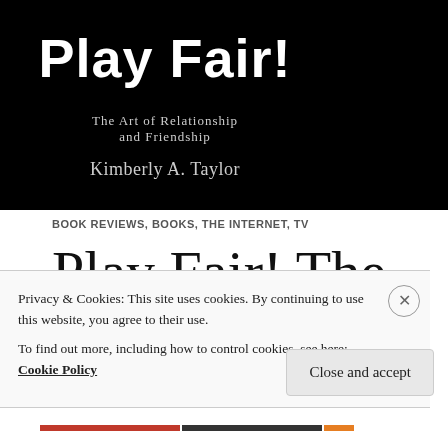[Figure (illustration): Book cover for 'Play Fair! The Art of Relationship and Friendship' by Kimberly A. Taylor. Black background with large white bold title text 'Play Fair!' and subtitle 'The Art of Relationship and Friendship' and author name in grey text.]
BOOK REVIEWS, BOOKS, THE INTERNET, TV
Play Fair! The Art of Friendship and
Privacy & Cookies: This site uses cookies. By continuing to use this website, you agree to their use.
To find out more, including how to control cookies, see here: Cookie Policy
Close and accept